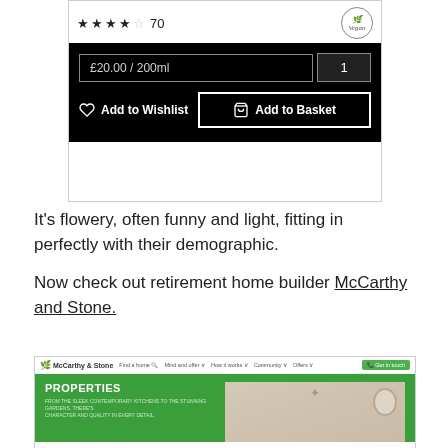[Figure (screenshot): E-commerce product page screenshot showing 4.5 star rating (70 reviews), Vegan badge, price £20.00/200ml with quantity 1, Add to Wishlist and Add to Basket buttons on black background]
It's flowery, often funny and light, fitting in perfectly with their demographic.
Now check out retirement home builder McCarthy and Stone.
[Figure (screenshot): McCarthy & Stone website screenshot showing navigation bar and green hero section with 'PROPERTIES' heading and a room interior photo on the right]